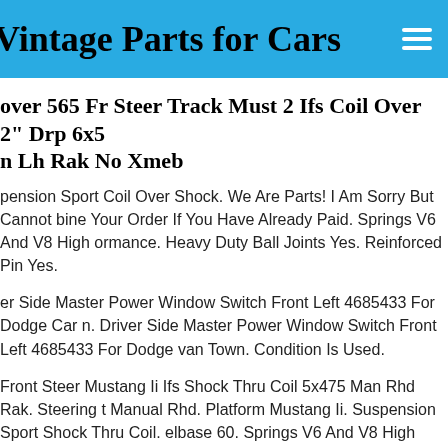Vintage Parts for Cars
over 565 Fr Steer Track Must 2 Ifs Coil Over 2" Drp 6x5 n Lh Rak No Xmeb
pension Sport Coil Over Shock. We Are Parts! I Am Sorry But Cannot bine Your Order If You Have Already Paid. Springs V6 And V8 High ormance. Heavy Duty Ball Joints Yes. Reinforced Pin Yes.
er Side Master Power Window Switch Front Left 4685433 For Dodge Car n. Driver Side Master Power Window Switch Front Left 4685433 For Dodge van Town. Condition Is Used.
Front Steer Mustang Ii Ifs Shock Thru Coil 5x475 Man Rhd Rak. Steering t Manual Rhd. Platform Mustang Ii. Suspension Sport Shock Thru Coil. elbase 60. Springs V6 And V8 High Performance. Heavy Duty Ball Joints Reinforced Pin Yes.